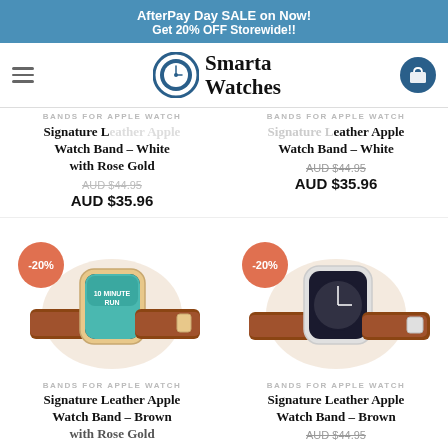AfterPay Day SALE on Now!
Get 20% OFF Storewide!!
[Figure (logo): Smarta Watches logo with circular watch icon]
BANDS FOR APPLE WATCH
Signature Leather Apple Watch Band – White with Rose Gold
AUD $44.95
AUD $35.96
BANDS FOR APPLE WATCH
Signature Leather Apple Watch Band – White
AUD $44.95
AUD $35.96
[Figure (photo): Apple Watch with brown leather band (Rose Gold) showing -20% badge]
[Figure (photo): Apple Watch with brown leather band (Silver) showing -20% badge]
BANDS FOR APPLE WATCH
Signature Leather Apple Watch Band – Brown with Rose Gold
BANDS FOR APPLE WATCH
Signature Leather Apple Watch Band – Brown
AUD $44.95